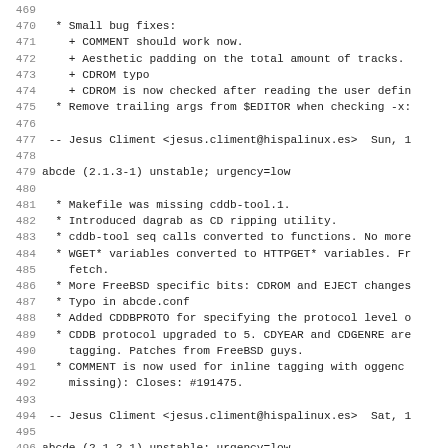Code listing lines 469-501, debian changelog format showing abcde package versions 2.1.3-1 and 2.1.2-1
469
470  * Small bug fixes:
471    + COMMENT should work now.
472    + Aesthetic padding on the total amount of tracks.
473    + CDROM typo
474    + CDROM is now checked after reading the user defin
475  * Remove trailing args from $EDITOR when checking -x:
476
477 -- Jesus Climent <jesus.climent@hispalinux.es>  Sun, 1
478
479 abcde (2.1.3-1) unstable; urgency=low
480
481  * Makefile was missing cddb-tool.1.
482  * Introduced dagrab as CD ripping utility.
483  * cddb-tool seq calls converted to functions. No more
484  * WGET* variables converted to HTTPGET* variables. Fr
485    fetch.
486  * More FreeBSD specific bits: CDROM and EJECT changes
487  * Typo in abcde.conf
488  * Added CDDBPROTO for specifying the protocol level o
489  * CDDB protocol upgraded to 5. CDYEAR and CDGENRE are
490    tagging. Patches from FreeBSD guys.
491  * COMMENT is now used for inline tagging with oggenc
492    missing): Closes: #191475.
493
494 -- Jesus Climent <jesus.climent@hispalinux.es>  Sat, 1
495
496 abcde (2.1.2-1) unstable; urgency=low
497
498  * Documentation updates: Closes: #186230.
499  * Usual set of bug fixes and corrections.
500  * Default behaviour of VAOUTPUTFORMAT output changed
501    dire...